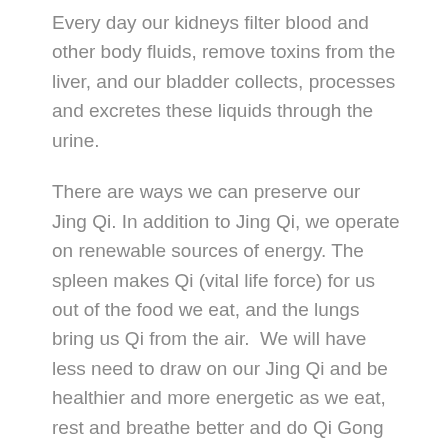Every day our kidneys filter blood and other body fluids, remove toxins from the liver, and our bladder collects, processes and excretes these liquids through the urine.
There are ways we can preserve our Jing Qi. In addition to Jing Qi, we operate on renewable sources of energy. The spleen makes Qi (vital life force) for us out of the food we eat, and the lungs bring us Qi from the air. We will have less need to draw on our Jing Qi and be healthier and more energetic as we eat, rest and breathe better and do Qi Gong to replenish our renewable sources of energy.
Skip the Caffeine